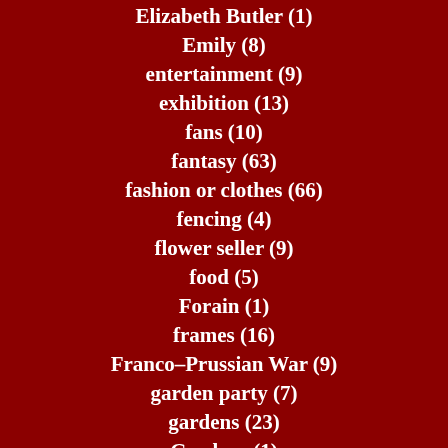Elizabeth Butler (1)
Emily (8)
entertainment (9)
exhibition (13)
fans (10)
fantasy (63)
fashion or clothes (66)
fencing (4)
flower seller (9)
food (5)
Forain (1)
frames (16)
Franco–Prussian War (9)
garden party (7)
gardens (23)
Gardner (1)
Gauguin (2)
Gervex (1)
Giroux (?)